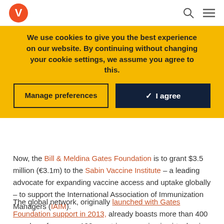V [logo] | [search icon] [menu icon]
We use cookies to give you the best experience on our website. By continuing without changing your cookie settings, we assume you agree to this.
Manage preferences | ✓ I agree
Now, the Bill & Meldina Gates Foundation is to grant $3.5 million (€3.1m) to the Sabin Vaccine Institute – a leading advocate for expanding vaccine access and uptake globally – to support the International Association of Immunization Managers (IAIM).
The global network, originally launched with Gates Foundation support in 2013, already boasts more than 400 members from over 120 countries engaging in virtual or in-